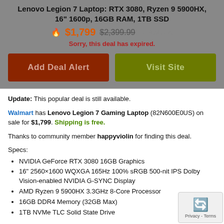Lenovo Legion 7 Laptop: RTX 3080, Ryzen 9 5900HX, 16" 1600p, 16GB RAM, 1TB SSD
🔥 $1,799 $2,399.99 at Walmart
Sorry, this deal has expired.
[Figure (other): Two buttons: 'Add Deal Alert' (dark red) and 'Visit Site' (olive green)]
Update: This popular deal is still available.
Walmart has Lenovo Legion 7 Gaming Laptop (82N600E0US) on sale for $1,799. Shipping is free.
Thanks to community member happyviolin for finding this deal.
Specs:
NVIDIA GeForce RTX 3080 16GB Graphics
16" 2560×1600 WQXGA 165Hz 100% sRGB 500-nit IPS Dolby Vision-enabled NVIDIA G-SYNC Display
AMD Ryzen 9 5900HX 3.3GHz 8-Core Processor
16GB DDR4 Memory (32GB Max)
1TB NVMe TLC Solid State Drive